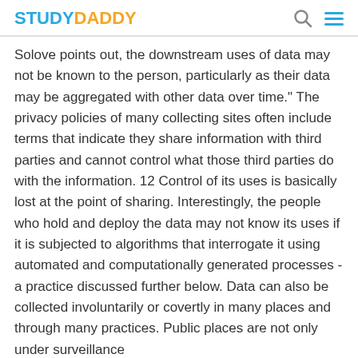STUDYDADDY
Solove points out, the downstream uses of data may not be known to the person, particularly as their data may be aggregated with other data over time." The privacy policies of many collecting sites often include terms that indicate they share information with third parties and cannot control what those third parties do with the information. 12 Control of its uses is basically lost at the point of sharing. Interestingly, the people who hold and deploy the data may not know its uses if it is subjected to algorithms that interrogate it using automated and computationally generated processes -a practice discussed further below. Data can also be collected involuntarily or covertly in many places and through many practices. Public places are not only under surveillance